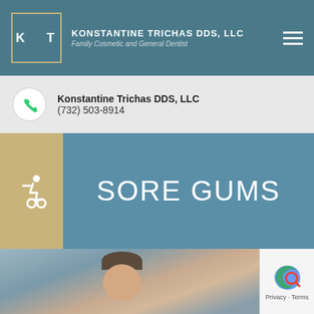KONSTANTINE TRICHAS DDS, LLC — Family Cosmetic and General Dentist
Konstantine Trichas DDS, LLC
(732) 503-8914
SORE GUMS
[Figure (photo): Photo of a woman with short hair, visible from the shoulders up, with bookshelves in the background]